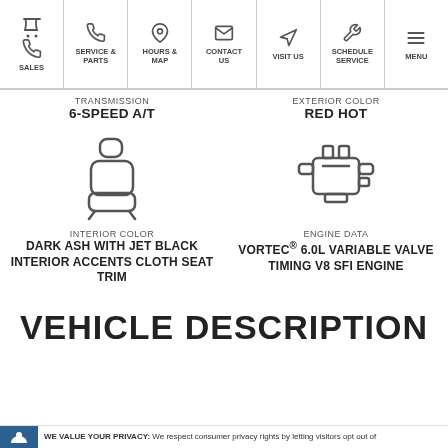SALES | SERVICE & PARTS | HOURS & MAP | CONTACT US | VISIT US | SCHEDULE SERVICE | MENU
TRANSMISSION
6-SPEED A/T
EXTERIOR COLOR
RED HOT
[Figure (illustration): Car seat icon outline]
[Figure (illustration): Car engine icon outline]
INTERIOR COLOR
DARK ASH WITH JET BLACK INTERIOR ACCENTS CLOTH SEAT TRIM
ENGINE DATA
VORTEC® 6.0L VARIABLE VALVE TIMING V8 SFI ENGINE
VEHICLE DESCRIPTION
WE VALUE YOUR PRIVACY: We respect consumer privacy rights by letting visitors opt out of